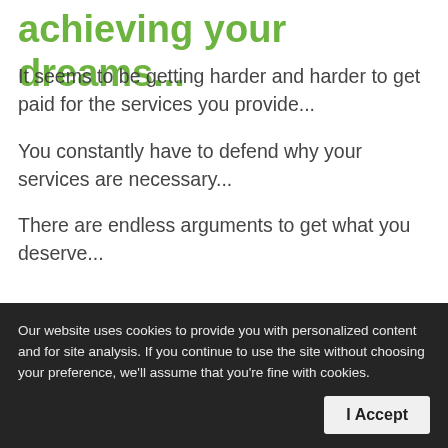achieving your dreams...
It seems to be getting harder and harder to get paid for the services you provide...
You constantly have to defend why your services are necessary...
There are endless arguments to get what you deserve...
even get paid every time a patient walks in the door...
Our website uses cookies to provide you with personalized content and for site analysis. If you continue to use the site without choosing your preference, we'll assume that you're fine with cookies.
Share This